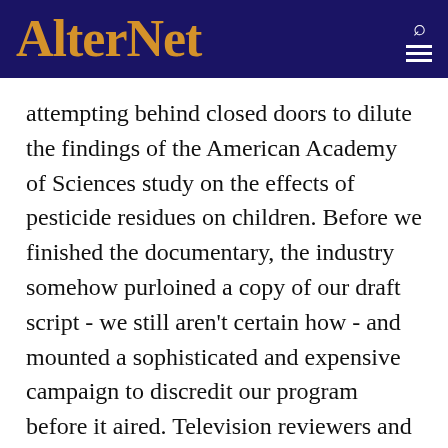AlterNet
attempting behind closed doors to dilute the findings of the American Academy of Sciences study on the effects of pesticide residues on children. Before we finished the documentary, the industry somehow purloined a copy of our draft script - we still aren't certain how - and mounted a sophisticated and expensive campaign to discredit our program before it aired. Television reviewers and editorial pages of key newspapers were flooded with propaganda. Some public television managers